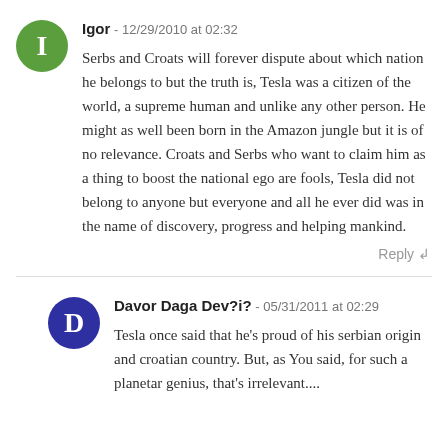Igor - 12/29/2010 at 02:32
Serbs and Croats will forever dispute about which nation he belongs to but the truth is, Tesla was a citizen of the world, a supreme human and unlike any other person. He might as well been born in the Amazon jungle but it is of no relevance. Croats and Serbs who want to claim him as a thing to boost the national ego are fools, Tesla did not belong to anyone but everyone and all he ever did was in the name of discovery, progress and helping mankind.
Reply
Davor Daga Dev?i? - 05/31/2011 at 02:29
Tesla once said that he's proud of his serbian origin and croatian country. But, as You said, for such a planetar genius, that's irrelevant....